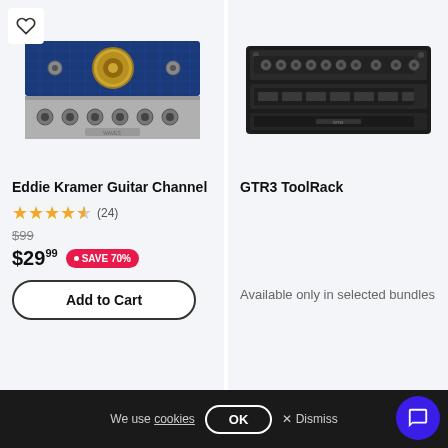[Figure (screenshot): Eddie Kramer Guitar Channel plugin UI - blue amp face with knobs and control panel]
Eddie Kramer Guitar Channel
★★★★½ (24)
$99
$29.99 SAVE 70%
Add to Cart
[Figure (screenshot): GTR3 ToolRack plugin UI - dark rack-mounted guitar effects unit]
GTR3 ToolRack
Available only in selected bundles
We use cookies OK × Dismiss